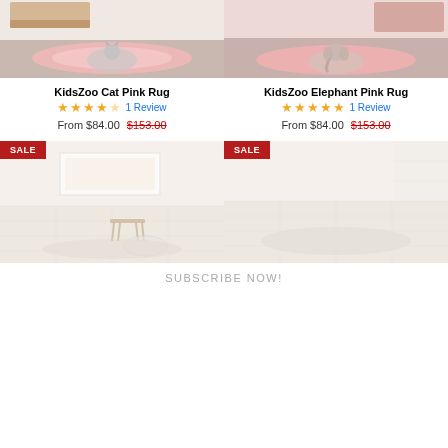[Figure (photo): KidsZoo Cat Pink Rug product photo - pink rug with grey cat design on room floor]
[Figure (photo): KidsZoo Elephant Pink Rug product photo - pink rug with elephant design on room floor]
KidsZoo Cat Pink Rug
★★★★☆ 1 Review
From $84.00  $153.00
KidsZoo Elephant Pink Rug
★★★★★ 1 Review
From $84.00  $153.00
[Figure (photo): SALE - light colored room interior with rug (faded/washed out image)]
[Figure (photo): SALE - light colored room interior with rug (faded/washed out image)]
SUBSCRIBE NOW!